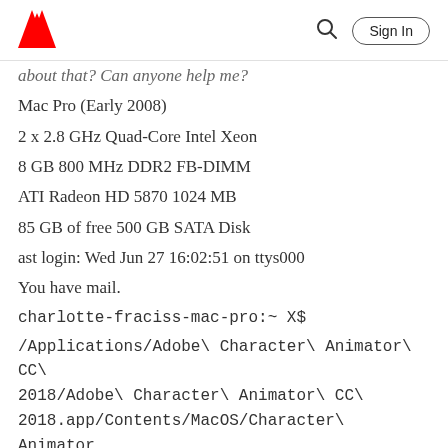Adobe logo, search icon, Sign In button
about that? Can anyone help me?
Mac Pro (Early 2008)
2 x 2.8 GHz Quad-Core Intel Xeon
8 GB 800 MHz DDR2 FB-DIMM
ATI Radeon HD 5870 1024 MB
85 GB of free 500 GB SATA Disk
ast login: Wed Jun 27 16:02:51 on ttys000
You have mail.
charlotte-fraciss-mac-pro:~ X$
/Applications/Adobe\ Character\ Animator\ CC\ 2018/Adobe\ Character\ Animator\ CC\ 2018.app/Contents/MacOS/Character\ Animator
2018-06-27 16:04:33.762 Character Animator[4633:679818]
AdobeCrashReporterInitialize: executionTime